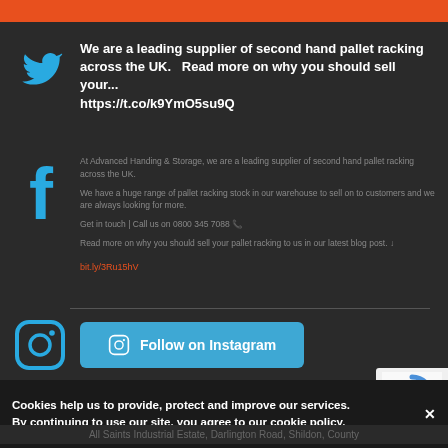[Figure (screenshot): Orange header bar at top of page]
[Figure (logo): Twitter bird icon in cyan/blue color]
We are a leading supplier of second hand pallet racking across the UK.   Read more on why you should sell your... https://t.co/k9YmO5su9Q
[Figure (logo): Facebook 'f' logo in cyan/blue color]
At Advanced Handing & Storage, we are a leading supplier of second hand pallet racking across the UK.
We have a huge range of pallet racking stock in our warehouse to sell on to customers and we are always looking for more.
Get in touch | Call us on 0800 345 7088 📞
Read more on why you should sell your pallet racking to us in our latest blog post. ↓
bit.ly/3Ru15hV
[Figure (logo): Instagram camera icon in cyan/blue rounded square]
Follow on Instagram
Cookies help us to provide, protect and improve our services. By continuing to use our site, you agree to our cookie policy. ✕
All Saints Industrial Estate, Darlington Road, Shildon, County